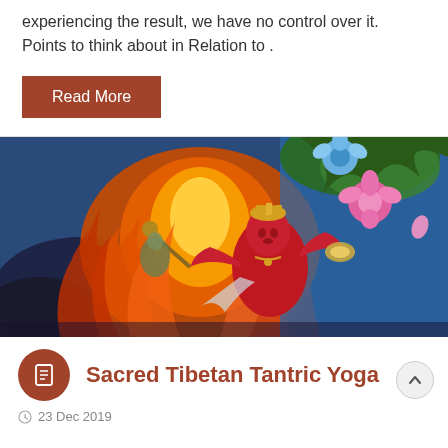experiencing the result, we have no control over it. Points to think about in Relation to .
Read More
[Figure (illustration): Tibetan tantric art painting showing a red deity figure surrounded by flames, holding ritual objects, with colorful flowers and blue background]
Sacred Tibetan Tantric Yoga
23 Dec 2019